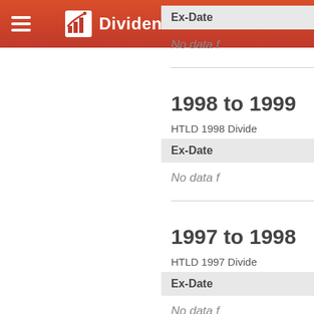DividendChannel.com
Ex-Date
No data f
1998 to 1999
HTLD 1998 Divide
Ex-Date
No data f
1997 to 1998
HTLD 1997 Divide
Ex-Date
No data f